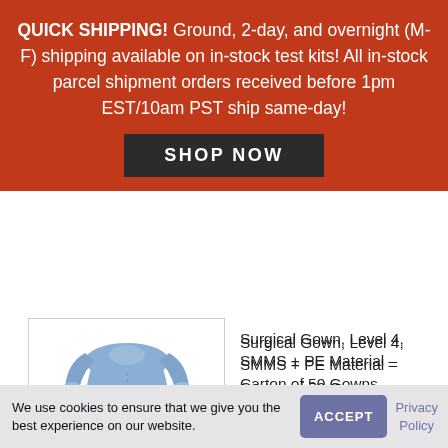QUICK SHIPPING! Ground, 2-day, and overnight (M-F) shipping available on in-stock test kits! All in-stock parcel shipment orders received before 1pm EST/10am PST ship same-day!
SHOP NOW
[Figure (photo): Blue surgical gown displayed on white background inside a bordered product image box]
Surgical Gown, Level 4, SMMS + PE Material – Carton of 50 Gowns
$1.50 / piece
We use cookies to ensure that we give you the best experience on our website.
ACCEPT
Privacy Policy